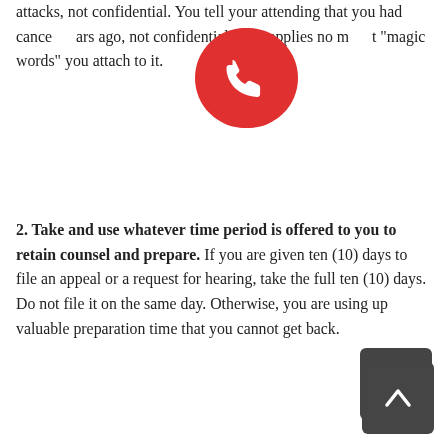attacks, not confidential. You tell your attending that you had cancer years ago, not confidential. This applies no matter what "magic words" you attach to it.
2. Take and use whatever time period is offered to you to retain counsel and prepare. If you are given ten (10) days to file an appeal or a request for hearing, take the full ten (10) days. Do not file it on the same day. Otherwise, you are using up valuable preparation time that you cannot get back.
3. Make sure that whatever you are required to file is actually received by the due date indicated. If a request for a hearing must be filed within fifteen (15) days, that means that it must be received within the fifteen days. Check when you send it or deliver it to make sure it has been successfully received.